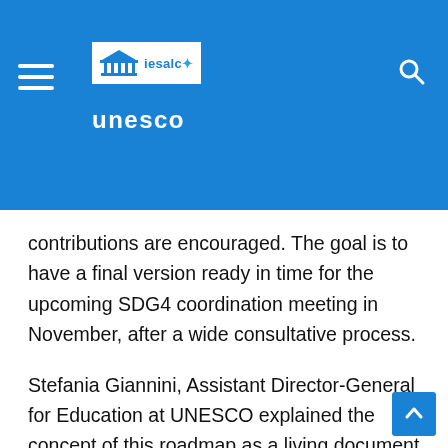[Figure (logo): UNESCO IESALC logo with hamburger menu and search icon on blue header background]
contributions are encouraged. The goal is to have a final version ready in time for the upcoming SDG4 coordination meeting in November, after a wide consultative process.
Stefania Giannini, Assistant Director-General for Education at UNESCO explained the concept of this roadmap as a living document that